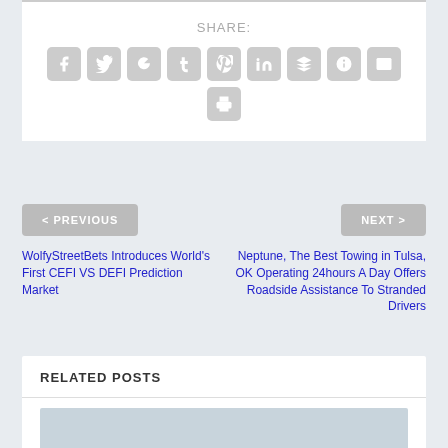SHARE:
[Figure (other): Social share buttons: Facebook, Twitter, Google+, Tumblr, Pinterest, LinkedIn, Buffer, StumbleUpon, Email, Print]
< PREVIOUS
NEXT >
WolfyStreetBets Introduces World's First CEFI VS DEFI Prediction Market
Neptune, The Best Towing in Tulsa, OK Operating 24hours A Day Offers Roadside Assistance To Stranded Drivers
RELATED POSTS